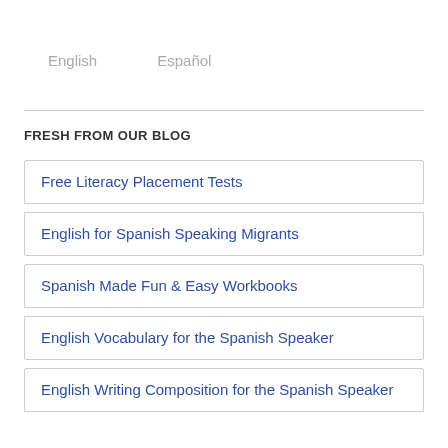English    Español
FRESH FROM OUR BLOG
Free Literacy Placement Tests
English for Spanish Speaking Migrants
Spanish Made Fun & Easy Workbooks
English Vocabulary for the Spanish Speaker
English Writing Composition for the Spanish Speaker